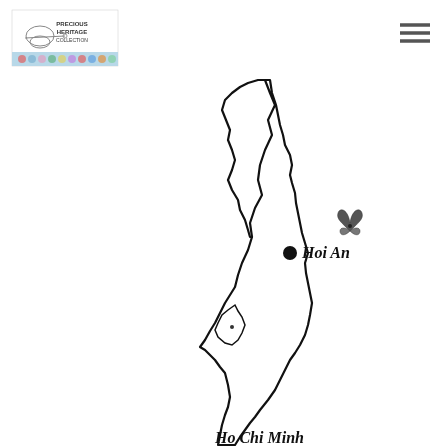[Figure (logo): Precious Heritage Collection logo with foot and fabric swatch]
[Figure (map): Outline map of Vietnam with Hoi An marked by a filled circle and Ho Chi Minh labeled in the south. A decorative floral/bee motif appears to the right near Hoi An.]